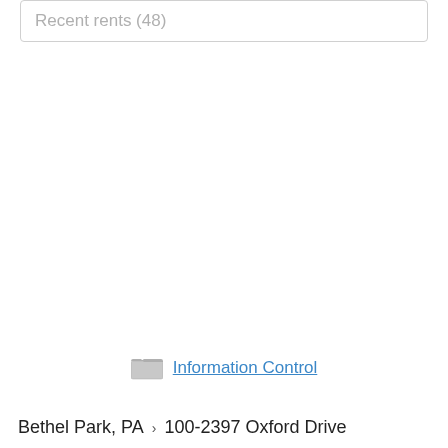Recent rents (48)
[Figure (other): Folder icon with Information Control link]
Information Control
Bethel Park, PA › 100-2397 Oxford Drive